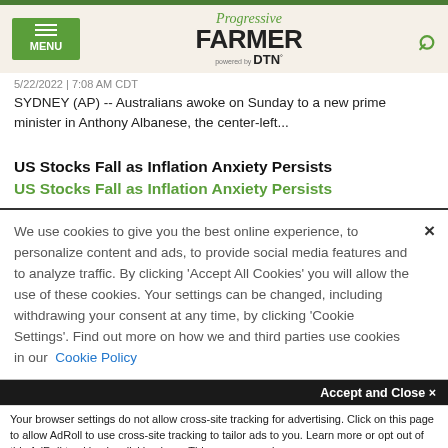Progressive Farmer powered by DTN
5/22/2022 | 7:08 AM CDT
SYDNEY (AP) -- Australians awoke on Sunday to a new prime minister in Anthony Albanese, the center-left...
US Stocks Fall as Inflation Anxiety Persists
US Stocks Fall as Inflation Anxiety Persists
We use cookies to give you the best online experience, to personalize content and ads, to provide social media features and to analyze traffic. By clicking 'Accept All Cookies' you will allow the use of these cookies. Your settings can be changed, including withdrawing your consent at any time, by clicking 'Cookie Settings'. Find out more on how we and third parties use cookies in our Cookie Policy
Accept and Close ×
Your browser settings do not allow cross-site tracking for advertising. Click on this page to allow AdRoll to use cross-site tracking to tailor ads to you. Learn more or opt out of this AdRoll tracking by clicking here. This message only appears once.